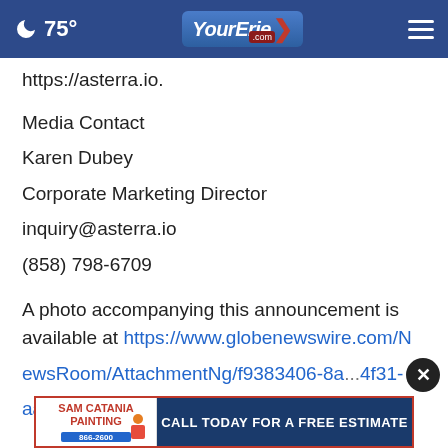75° YourErie.com
https://asterra.io.
Media Contact
Karen Dubey
Corporate Marketing Director
inquiry@asterra.io
(858) 798-6709
A photo accompanying this announcement is available at https://www.globenewswire.com/NewsRoom/AttachmentNg/f9383406-8a...-4f31-aa5e-...
[Figure (other): Sam Catania Painting advertisement banner: logo on left, 'CALL TODAY FOR A FREE ESTIMATE' on right, phone 866-2600]